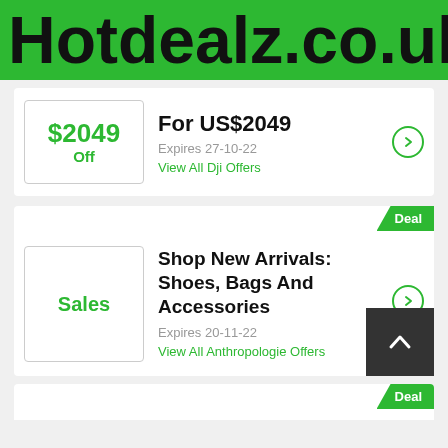Hotdealz.co.uk
$2049 Off
For US$2049
Expires 27-10-22
View All Dji Offers
Sales
Shop New Arrivals: Shoes, Bags And Accessories
Expires 20-11-22
View All Anthropologie Offers